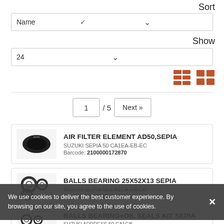Sort
Name
Show
24
1 / 5  Next »
AIR FILTER ELEMENT AD50,SEPIA
SUZUKI SEPIA 50 CA1EA-EB-EC
Barcode: 2100000172870
BALLS BEARING 25X52X13 SEPIA
SUZUKI SEPIA 50 CA1EA-EB-EC
Barcode: 2100000070985
BALLS BEARING+OIL SEALS KIT SEPIA
SUZUKI ADDRESS 50 CA1GB
We use cookies to deliver the best customer experience. By browsing on our site, you agree to the use of cookies.